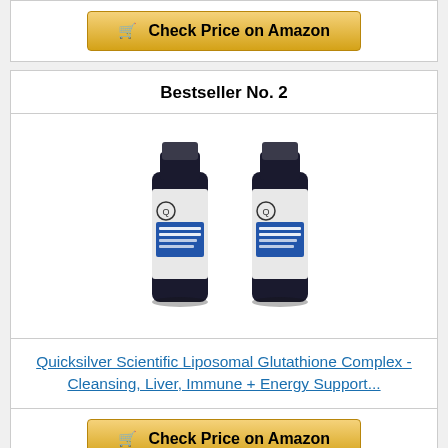[Figure (other): Check Price on Amazon button at top]
Bestseller No. 2
[Figure (photo): Two dark glass bottles of Quicksilver Scientific Liposomal Glutathione Complex with blue and white labels]
Quicksilver Scientific Liposomal Glutathione Complex - Cleansing, Liver, Immune + Energy Support...
[Figure (other): Check Price on Amazon button at bottom]